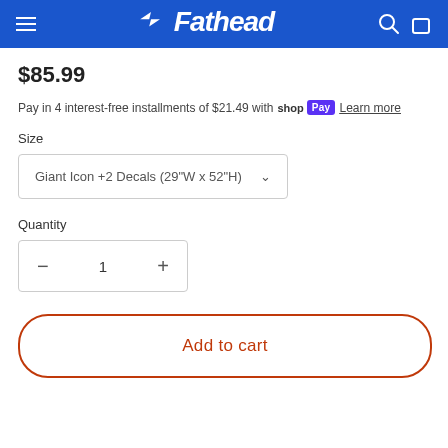Fathead
$85.99
Pay in 4 interest-free installments of $21.49 with Shop Pay  Learn more
Size
Giant Icon +2 Decals (29"W x 52"H)
Quantity
1
Add to cart